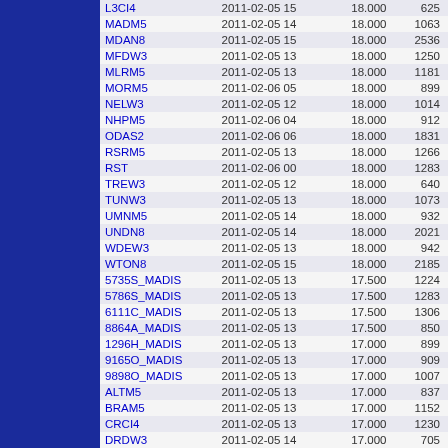| ID | Date | Value | Count |
| --- | --- | --- | --- |
| L3CI4 | 2011-02-05 15 | 18.000 | 625 |
| MADM5 | 2011-02-05 14 | 18.000 | 1063 |
| MDAN8 | 2011-02-05 15 | 18.000 | 2536 |
| MFDW3 | 2011-02-05 13 | 18.000 | 1250 |
| MLRM5 | 2011-02-05 13 | 18.000 | 1181 |
| MORM5 | 2011-02-06 05 | 18.000 | 899 |
| NELW3 | 2011-02-05 12 | 18.000 | 1014 |
| NHPM5 | 2011-02-06 04 | 18.000 | 912 |
| ODAS2 | 2011-02-06 06 | 18.000 | 1831 |
| RSRM5 | 2011-02-05 13 | 18.000 | 1266 |
| RST | 2011-02-06 00 | 18.000 | 1283 |
| TREW3 | 2011-02-05 12 | 18.000 | 640 |
| TUNW3 | 2011-02-05 13 | 18.000 | 1073 |
| UMNM5 | 2011-02-05 14 | 18.000 | 932 |
| UNDN8 | 2011-02-05 14 | 18.000 | 2021 |
| WDEW3 | 2011-02-05 13 | 18.000 | 942 |
| WTON8 | 2011-02-05 15 | 18.000 | 2185 |
| 5735S_MADIS | 2011-02-05 13 | 17.500 | 1224 |
| 5786S_MADIS | 2011-02-05 13 | 17.500 | 1283 |
| 6111C_MADIS | 2011-02-05 13 | 17.500 | 1306 |
| 8864A_MADIS | 2011-02-05 13 | 17.500 | 850 |
| 1296H_MADIS | 2011-02-05 13 | 17.000 | 899 |
| 9165O_MADIS | 2011-02-05 13 | 17.000 | 909 |
| 9898O_MADIS | 2011-02-05 13 | 17.000 | 1007 |
| ALTM5 | 2011-02-05 13 | 17.000 | 837 |
| BRAM5 | 2011-02-05 13 | 17.000 | 1152 |
| CRCI4 | 2011-02-05 13 | 17.000 | 1230 |
| DRDW3 | 2011-02-05 14 | 17.000 | 705 |
| HNSN8 | 2011-02-05 14 | 17.000 | 1545 |